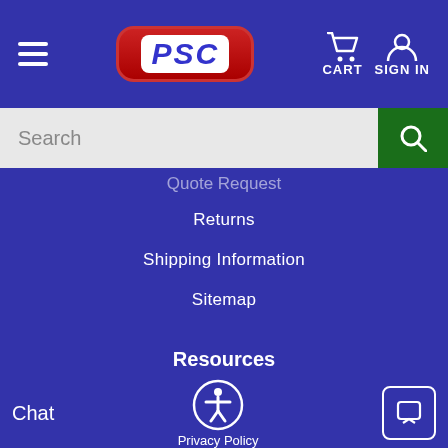PSC - CART SIGN IN
Search
Quote Request
Returns
Shipping Information
Sitemap
Resources
About Us
Accessibility
Chat  Privacy Policy